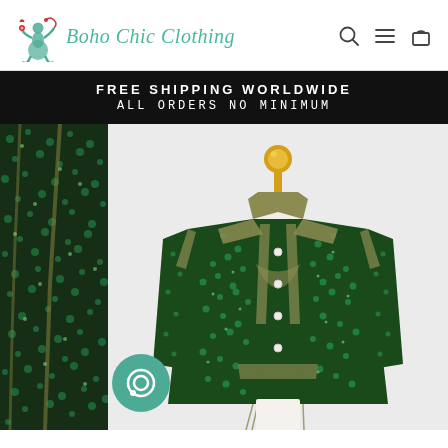[Figure (logo): Boho Chic Clothing logo with decorative figure in red/green and teal italic text]
FREE SHIPPING WORLDWIDE
ALL ORDERS NO MINIMUM
[Figure (photo): Green sequin jacket with olive/khaki trim displayed on a mannequin with a gold finial top, on white background. A partial view of a similar jacket is visible on the left side.]